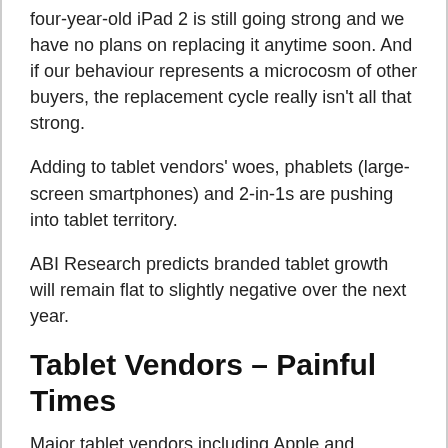four-year-old iPad 2 is still going strong and we have no plans on replacing it anytime soon. And if our behaviour represents a microcosm of other buyers, the replacement cycle really isn't all that strong.
Adding to tablet vendors' woes, phablets (large-screen smartphones) and 2-in-1s are pushing into tablet territory.
ABI Research predicts branded tablet growth will remain flat to slightly negative over the next year.
Tablet Vendors – Painful Times
Major tablet vendors including Apple and Samsung are experiencing much pain.
Continue reading »